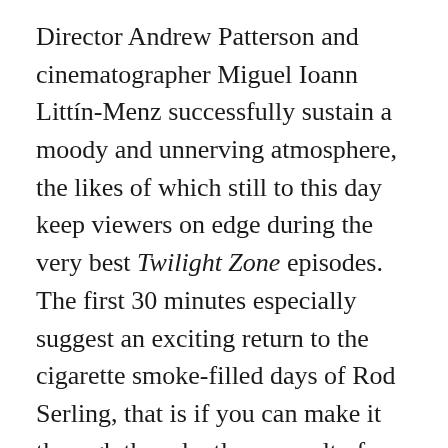Director Andrew Patterson and cinematographer Miguel Ioann Littín-Menz successfully sustain a moody and unnerving atmosphere, the likes of which still to this day keep viewers on edge during the very best Twilight Zone episodes. The first 30 minutes especially suggest an exciting return to the cigarette smoke-filled days of Rod Serling, that is if you can make it through the relentless assault of blocky dialogue that opens the film. (I initially had to activate the close captioning just to stand a chance at keeping up with what was being said.)